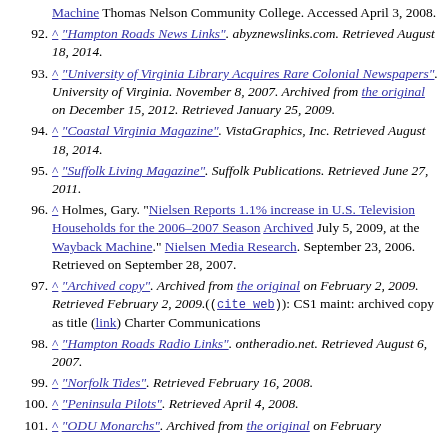continuation: Machine Thomas Nelson Community College. Accessed April 3, 2008.
92. ^ "Hampton Roads News Links". abyznewslinks.com. Retrieved August 18, 2014.
93. ^ "University of Virginia Library Acquires Rare Colonial Newspapers". University of Virginia. November 8, 2007. Archived from the original on December 15, 2012. Retrieved January 25, 2009.
94. ^ "Coastal Virginia Magazine". VistaGraphics, Inc. Retrieved August 18, 2014.
95. ^ "Suffolk Living Magazine". Suffolk Publications. Retrieved June 27, 2011.
96. ^ Holmes, Gary. "Nielsen Reports 1.1% increase in U.S. Television Households for the 2006–2007 Season Archived July 5, 2009, at the Wayback Machine." Nielsen Media Research. September 23, 2006. Retrieved on September 28, 2007.
97. ^ "Archived copy". Archived from the original on February 2, 2009. Retrieved February 2, 2009.((cite web)): CS1 maint: archived copy as title (link) Charter Communications
98. ^ "Hampton Roads Radio Links". ontheradio.net. Retrieved August 6, 2007.
99. ^ "Norfolk Tides". Retrieved February 16, 2008.
100. ^ "Peninsula Pilots". Retrieved April 4, 2008.
101. ^ "ODU Monarchs". Archived from the original on February